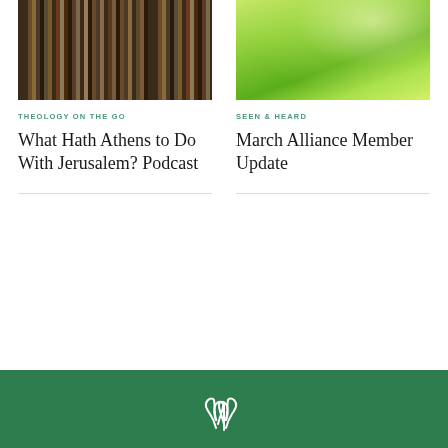[Figure (photo): Rows of old books on dark wooden library shelves]
[Figure (photo): Close-up of bright green grass in sunlight with bokeh]
THEOLOGY ON THE GO
SEEN & HEARD
What Hath Athens to Do With Jerusalem? Podcast
March Alliance Member Update
[Figure (logo): White sprout/plant logo on green background footer bar]